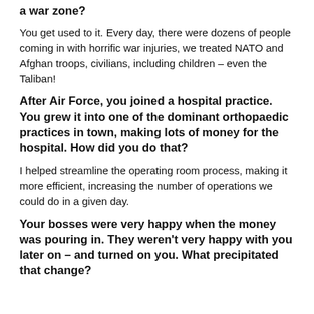a war zone?
You get used to it. Every day, there were dozens of people coming in with horrific war injuries, we treated NATO and Afghan troops, civilians, including children – even the Taliban!
After Air Force, you joined a hospital practice. You grew it into one of the dominant orthopaedic practices in town, making lots of money for the hospital. How did you do that?
I helped streamline the operating room process, making it more efficient, increasing the number of operations we could do in a given day.
Your bosses were very happy when the money was pouring in. They weren't very happy with you later on – and turned on you. What precipitated that change?